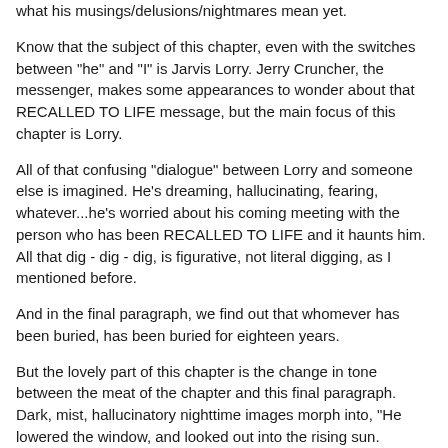what his musings/delusions/nightmares mean yet.
Know that the subject of this chapter, even with the switches between "he" and "I" is Jarvis Lorry. Jerry Cruncher, the messenger, makes some appearances to wonder about that RECALLED TO LIFE message, but the main focus of this chapter is Lorry.
All of that confusing "dialogue" between Lorry and someone else is imagined. He's dreaming, hallucinating, fearing, whatever...he's worried about his coming meeting with the person who has been RECALLED TO LIFE and it haunts him. All that dig - dig - dig, is figurative, not literal digging, as I mentioned before.
And in the final paragraph, we find out that whomever has been buried, has been buried for eighteen years.
But the lovely part of this chapter is the change in tone between the meat of the chapter and this final paragraph. Dark, mist, hallucinatory nighttime images morph into, "He lowered the window, and looked out into the rising sun.